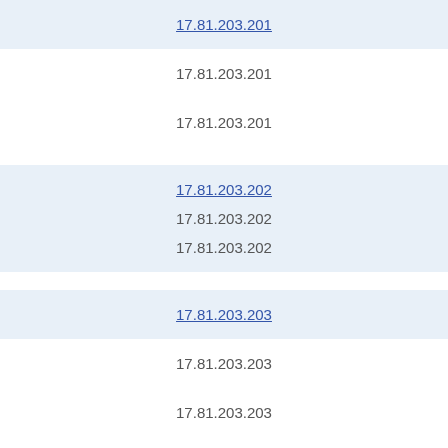17.81.203.201 (link, blue)
17.81.203.201
17.81.203.201
17.81.203.202 (link, blue)
17.81.203.202
17.81.203.202
17.81.203.203 (link, blue)
17.81.203.203
17.81.203.203